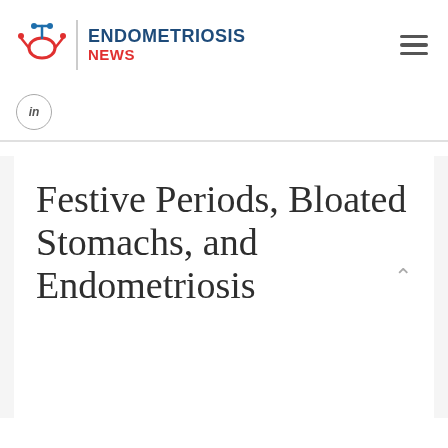ENDOMETRIOSIS NEWS
Festive Periods, Bloated Stomachs, and Endometriosis